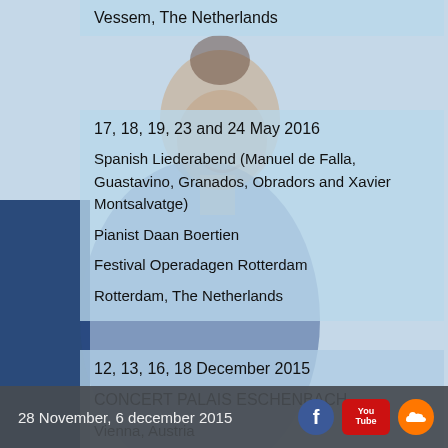[Figure (photo): Portrait photo of a female singer in a blue dress against a light blue background, overlaid with semi-transparent content panels]
Vessem, The Netherlands
17, 18, 19, 23 and 24 May 2016
Spanish Liederabend (Manuel de Falla, Guastavino, Granados, Obradors and Xavier Montsalvatge)
Pianist Daan Boertien
Festival Operadagen Rotterdam
Rotterdam, The Netherlands
12, 13, 16, 18 December 2015
CONCERT PALAIS ESCHENBACH
Vienna, Austria
28 November, 6 december 2015